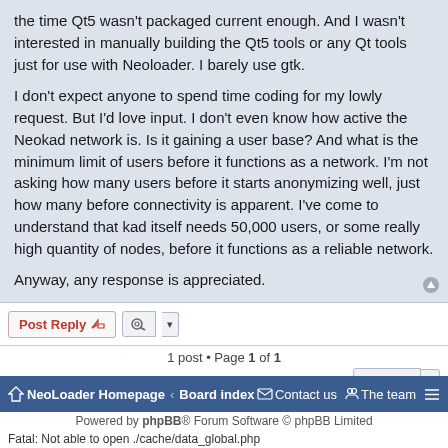the time Qt5 wasn't packaged current enough. And I wasn't interested in manually building the Qt5 tools or any Qt tools just for use with Neoloader. I barely use gtk.
I don't expect anyone to spend time coding for my lowly request. But I'd love input. I don't even know how active the Neokad network is. Is it gaining a user base? And what is the minimum limit of users before it functions as a network. I'm not asking how many users before it starts anonymizing well, just how many before connectivity is apparent. I've come to understand that kad itself needs 50,000 users, or some really high quantity of nodes, before it functions as a reliable network.
Anyway, any response is appreciated.
Post Reply
1 post • Page 1 of 1
Jump to
WHO IS ONLINE
Users browsing this forum: No registered users and 0 guests
NeoLoader Homepage · Board index · Contact us · The team
Powered by phpBB® Forum Software © phpBB Limited
Fatal: Not able to open ./cache/data_global.php